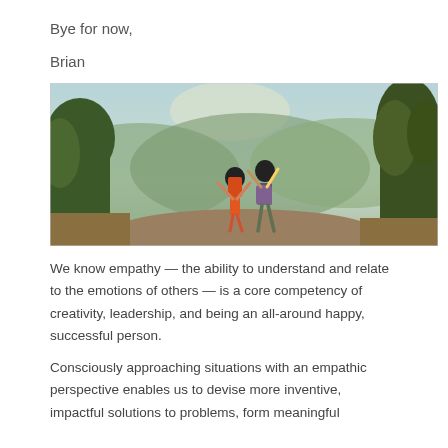Bye for now,
Brian
[Figure (photo): Two hikers with backpacks standing on a rocky mountain overlook with arms raised in celebration, surrounded by lush green trees and a hazy mountain landscape in the background under a light blue sky.]
We know empathy — the ability to understand and relate to the emotions of others — is a core competency of creativity, leadership, and being an all-around happy, successful person.
Consciously approaching situations with an empathic perspective enables us to devise more inventive, impactful solutions to problems, form meaningful